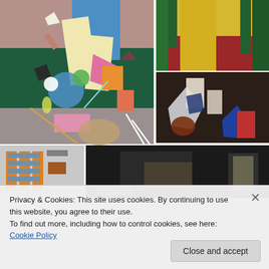[Figure (photo): Abstract colorful painting with geometric shapes, bones, circles, rectangles on teal/pink/gray background]
[Figure (photo): Painting of a garden path in yellow with green trees and red foliage]
[Figure (photo): Abstract painting with figures in blue, red, white, gray tones]
[Figure (photo): Painting with orange frames or scaffolding with gray/blue abstract elements]
[Figure (photo): Dark abstract painting with gray and yellow shapes on black background]
Privacy & Cookies: This site uses cookies. By continuing to use this website, you agree to their use.
To find out more, including how to control cookies, see here: Cookie Policy
Close and accept